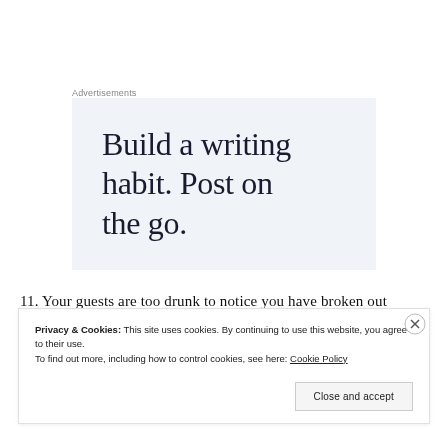Advertisements
[Figure (illustration): Advertisement box with light blue-grey background displaying the text 'Build a writing habit. Post on the go.' in large serif font.]
11. Your guests are too drunk to notice you have broken out
Privacy & Cookies: This site uses cookies. By continuing to use this website, you agree to their use.
To find out more, including how to control cookies, see here: Cookie Policy
Close and accept